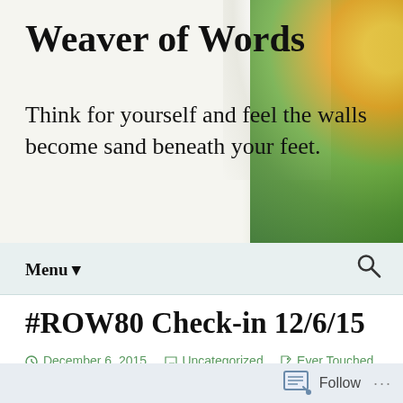Weaver of Words
Think for yourself and feel the walls become sand beneath your feet.
Menu ▼
#ROW80 Check-in 12/6/15
December 6, 2015   Uncategorized   Ever Touched, my muse is a sadist, NanoWriMo 2015, not enough chocolate god damn it, physical activity, Pirouette Edit/Revision, ROW80, ROW80 check-in, ROW80 Round 4
Annnnd I am back. The time between the last check-in and today seems to have been a whirlwind, but a good one, because I got some good work done.